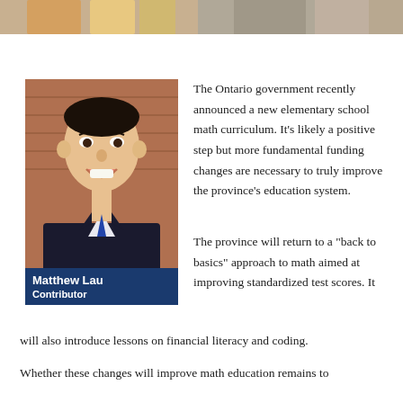[Figure (photo): Partial top banner image showing students, cropped at top of page]
[Figure (photo): Headshot photo of Matthew Lau smiling, wearing a suit, in front of a brick wall]
Matthew Lau
Contributor
The Ontario government recently announced a new elementary school math curriculum. It’s likely a positive step but more fundamental funding changes are necessary to truly improve the province’s education system.
The province will return to a “back to basics” approach to math aimed at improving standardized test scores. It will also introduce lessons on financial literacy and coding.
Whether these changes will improve math education remains to